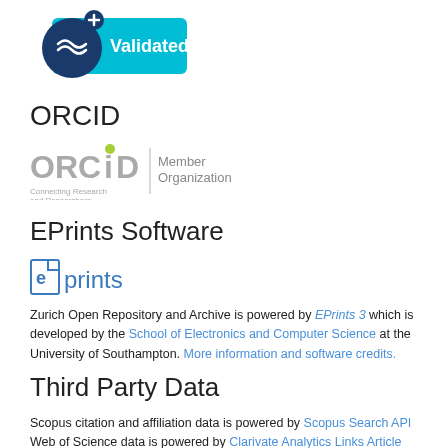[Figure (logo): Validated badge with blue circle and wave icon, cyan background with 'Validated' text, and a plus symbol]
ORCID
[Figure (logo): ORCID logo with 'Connecting Research and Researchers' tagline and 'Member Organization' label]
EPrints Software
[Figure (logo): EPrints logo in blue with document icon]
Zurich Open Repository and Archive is powered by EPrints 3 which is developed by the School of Electronics and Computer Science at the University of Southampton. More information and software credits.
Third Party Data
Scopus citation and affiliation data is powered by Scopus Search API Web of Science data is powered by Clarivate Analytics Links Article Match Service